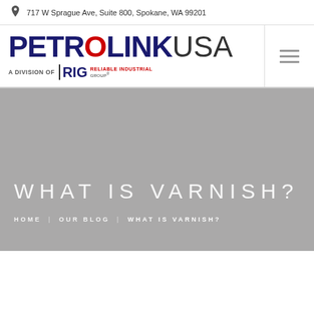717 W Sprague Ave, Suite 800, Spokane, WA 99201
[Figure (logo): PetrolinkUSA logo — 'A Division of RIG Reliable Industrial Group' tagline below]
WHAT IS VARNISH?
HOME   OUR BLOG   WHAT IS VARNISH?